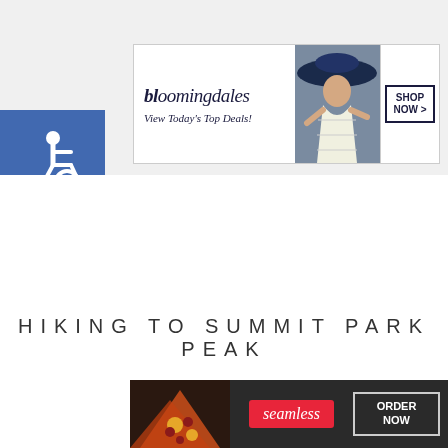[Figure (screenshot): Bloomingdales advertisement banner with logo, 'View Today's Top Deals!' tagline, fashion model with wide-brim hat, and 'SHOP NOW >' button]
[Figure (logo): Accessibility wheelchair symbol in white on blue square background]
HIKING TO SUMMIT PARK PEAK
[Figure (other): Partial cursive/italic text partially obscured, appears to be 'To']
[Figure (screenshot): CLOSE button overlay in grey]
[Figure (screenshot): Seamless food delivery advertisement with pizza image, Seamless logo, and ORDER NOW button]